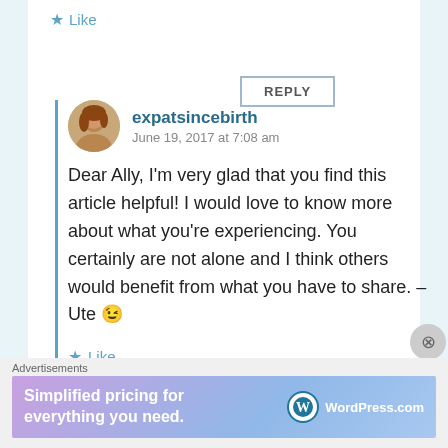Like
REPLY
expatsincebirth
June 19, 2017 at 7:08 am
Dear Ally, I'm very glad that you find this article helpful! I would love to know more about what you're experiencing. You certainly are not alone and I think others would benefit from what you have to share. – Ute 😉
Like
Advertisements
Simplified pricing for everything you need. WordPress.com